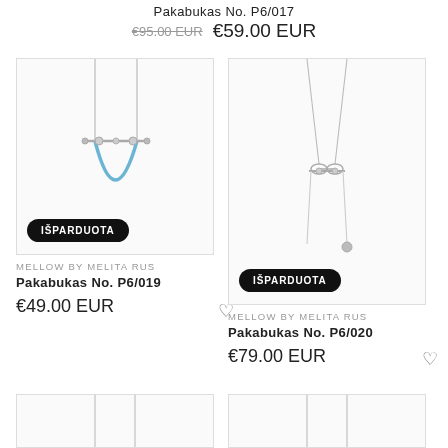Pakabukas No. P6/017
€95.00 EUR  €59.00 EUR
[Figure (photo): Necklace with blue rubber/cord element and silver bar pendant, shown hanging. IŠPARDUOTA badge overlay.]
MELLOW BY MELITA RUS
Pakabukas No. P6/019
€49.00 EUR
[Figure (photo): Silver chain necklace with bow/knot pendant and dangling elements. IŠPARDUOTA badge overlay.]
MELLOW BY MELITA RUS
Pakabukas No. P6/020
€79.00 EUR
[Figure (photo): Partial necklace image at bottom left, chains visible.]
[Figure (photo): Partial necklace image at bottom right, chains visible.]